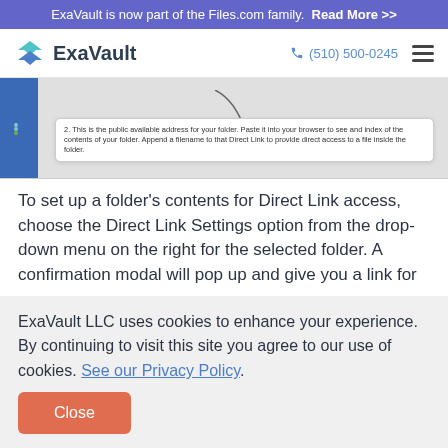ExaVault is now part of the Files.com family. Read More >>
[Figure (logo): ExaVault logo with teal/blue chevron icon and company name]
[Figure (screenshot): Screenshot showing a tooltip: '2. This is the public available address for your folder. Paste it into your browser to see and index of the contents of your folder. Append a filename to that Direct Link to provide direct access to a file inside the folder.']
To set up a folder's contents for Direct Link access, choose the Direct Link Settings option from the drop-down menu on the right for the selected folder. A confirmation modal will pop up and give you a link for
ExaVault LLC uses cookies to enhance your experience. By continuing to visit this site you agree to our use of cookies. See our Privacy Policy.
Close